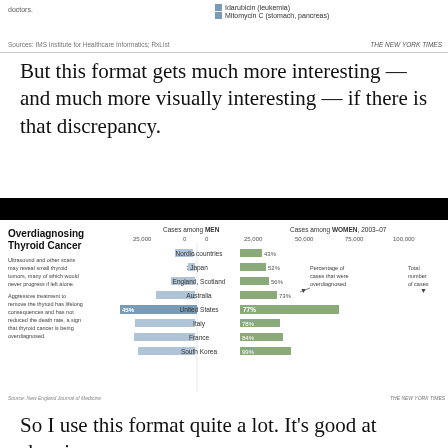doctors.
Sources: IMS Institute for Healthcare Informatics; RxList
But this format gets much more interesting — and much more visually interesting — if there is that discrepancy.
[Figure (grouped-bar-chart): Horizontal bar chart showing cases among MEN (left, going left from center) and cases among WOMEN 2003-07 (right, going right from center) for Nordic countries, Japan, England/Scotland, Australia, United States, Italy, France, South Korea. Percentages of overdiagnosis shown: Men: 20%, 7%, 26%, 46%, 45%, 72%, 73%, 68%. Women: 43%, 52%, 56%, 73%, 77%, 78%, 84%, 99%.]
So I use this format quite a lot. It's good at showing